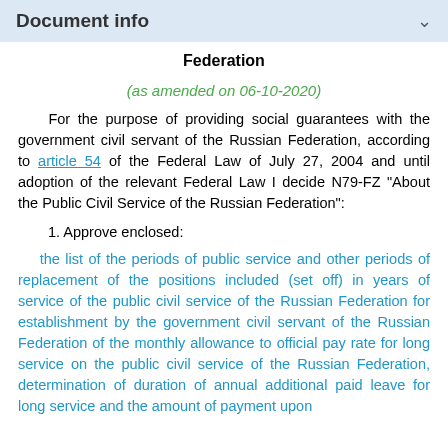Document info
Federation
(as amended on 06-10-2020)
For the purpose of providing social guarantees with the government civil servant of the Russian Federation, according to article 54 of the Federal Law of July 27, 2004 and until adoption of the relevant Federal Law I decide N79-FZ "About the Public Civil Service of the Russian Federation":
1. Approve enclosed:
the list of the periods of public service and other periods of replacement of the positions included (set off) in years of service of the public civil service of the Russian Federation for establishment by the government civil servant of the Russian Federation of the monthly allowance to official pay rate for long service on the public civil service of the Russian Federation, determination of duration of annual additional paid leave for long service and the amount of payment upon